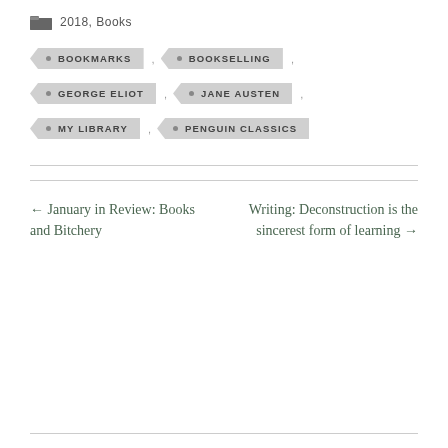2018, Books
BOOKMARKS
BOOKSELLING
GEORGE ELIOT
JANE AUSTEN
MY LIBRARY
PENGUIN CLASSICS
← January in Review: Books and Bitchery
Writing: Deconstruction is the sincerest form of learning →